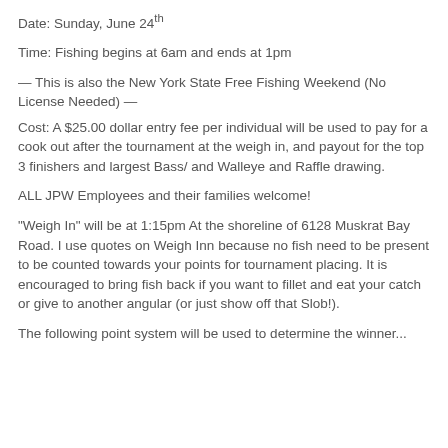Date: Sunday, June 24th
Time: Fishing begins at 6am and ends at 1pm
— This is also the New York State Free Fishing Weekend (No License Needed) —
Cost: A $25.00 dollar entry fee per individual will be used to pay for a cook out after the tournament at the weigh in, and payout for the top 3 finishers and largest Bass/ and Walleye and Raffle drawing.
ALL JPW Employees and their families welcome!
"Weigh In" will be at 1:15pm At the shoreline of 6128 Muskrat Bay Road. I use quotes on Weigh Inn because no fish need to be present to be counted towards your points for tournament placing. It is encouraged to bring fish back if you want to fillet and eat your catch or give to another angular (or just show off that Slob!).
The following point system will be used to determine the winner...